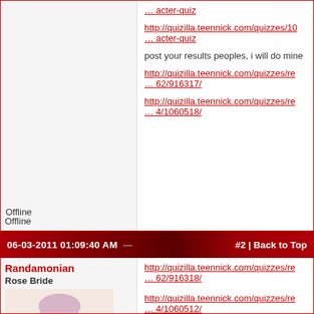… acter-quiz
http://quizilla.teennick.com/quizzes/10 … acter-quiz
post your results peoples, i will do mine
http://quizilla.teennick.com/quizzes/re … 62/916317/
http://quizilla.teennick.com/quizzes/re … 4/1060518/
Offline
06-03-2011 01:09:40 AM — #2 | Back to Top
Randamonian
Rose Bride
From: Australia
Registered: 11-07-2010
Posts: 102
http://quizilla.teennick.com/quizzes/re … 62/916318/
http://quizilla.teennick.com/quizzes/re … 4/1060512/
http://quizilla.teennick.com/quizzes/re … 4/1060517/